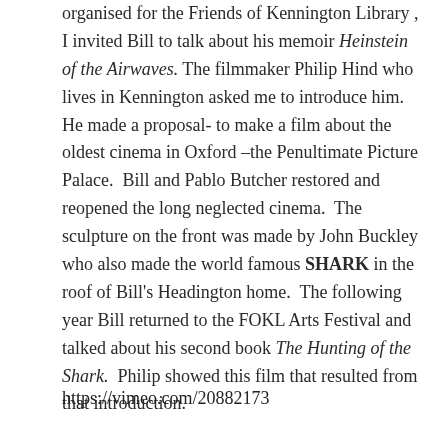organised for the Friends of Kennington Library , I invited Bill to talk about his memoir Heinstein of the Airwaves. The filmmaker Philip Hind who lives in Kennington asked me to introduce him. He made a proposal- to make a film about the oldest cinema in Oxford –the Penultimate Picture Palace.  Bill and Pablo Butcher restored and reopened the long neglected cinema.  The sculpture on the front was made by John Buckley who also made the world famous SHARK in the roof of Bill's Headington home.  The following year Bill returned to the FOKL Arts Festival and talked about his second book The Hunting of the Shark.  Philip showed this film that resulted from that introduction.
https://vimeo.com/20882173